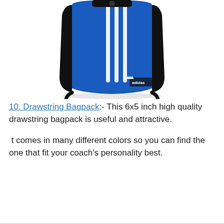[Figure (photo): Blue and black Adidas drawstring sling backpack with white three stripes and Adidas logo, photographed from the front on a white background.]
10. Drawstring Bagpack:- This 6x5 inch high quality drawstring bagpack is useful and attractive.
t comes in many different colors so you can find the one that fit your coach's personality best.